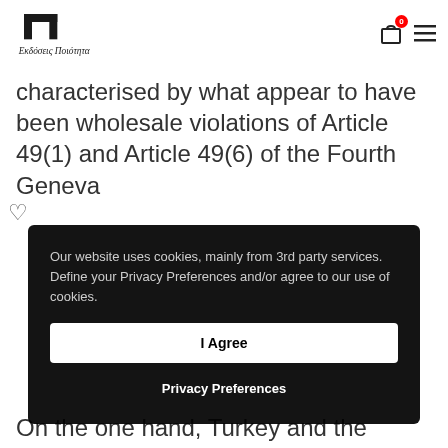Εκδόσεις Ποιότητα — logo and navigation
characterised by what appear to have been wholesale violations of Article 49(1) and Article 49(6) of the Fourth Geneva
Our website uses cookies, mainly from 3rd party services. Define your Privacy Preferences and/or agree to our use of cookies.
I Agree
Privacy Preferences
On the one hand, Turkey and the